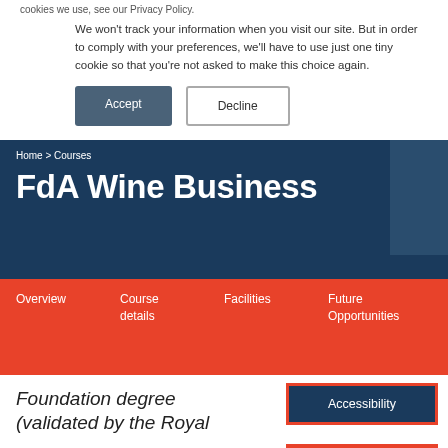cookies we use, see our Privacy Policy.
We won't track your information when you visit our site. But in order to comply with your preferences, we'll have to use just one tiny cookie so that you're not asked to make this choice again.
Accept
Decline
Home > Courses
FdA Wine Business
Overview
Course details
Facilities
Future Opportunities
Accessibility
Apply now
Foundation degree (validated by the Royal